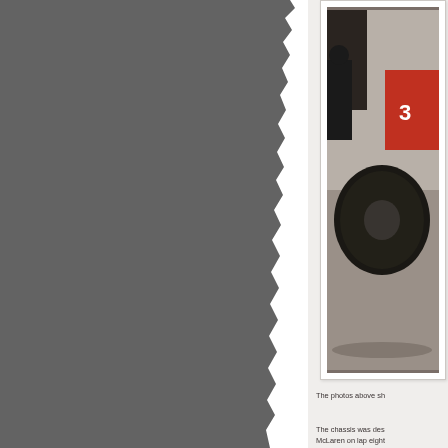[Figure (photo): Left side torn/ripped gray panel covering approximately 60% of the page width, with a torn right edge revealing the content beneath]
[Figure (photo): Partial photo of a racing car (appears to be a McLaren Formula 1 car with red livery, tire visible, number 3X visible) shown in a white photo frame with border, upper right area of page]
The photos above sh
The chassis was des McLaren on lap eight one for the company
The key elements of are all clear.
[Figure (photo): Partial second photo frame visible at bottom right of page, content partially cut off]